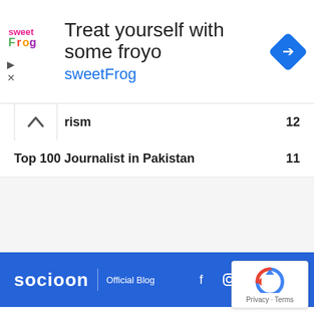[Figure (advertisement): sweetFrog froyo advertisement banner with logo, text 'Treat yourself with some froyo sweetFrog', and a blue diamond navigation arrow icon]
rism  12
Top 100 Journalist in Pakistan  11
socioon | Official Blog  [social icons: Facebook, Instagram, VK, YouTube]